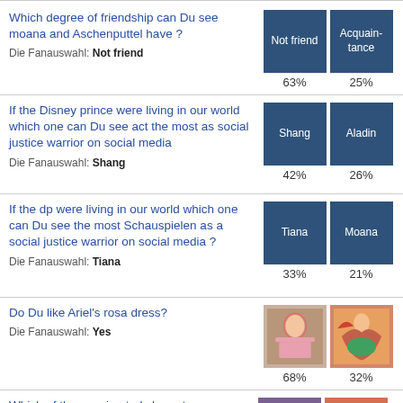Which degree of friendship can Du see moana and Aschenputtel have ? Die Fanauswahl: Not friend
[Figure (other): Two poll options: 'Not friend' (63%) and 'Acquain-tance' (25%) shown as dark blue boxes]
If the Disney prince were living in our world which one can Du see act the most as social justice warrior on social media  Die Fanauswahl: Shang
[Figure (other): Two poll options: 'Shang' (42%) and 'Aladin' (26%) shown as dark blue boxes]
If the dp were living in our world which one can Du see the most Schauspielen as a social justice warrior on social media ?  Die Fanauswahl: Tiana
[Figure (other): Two poll options: 'Tiana' (33%) and 'Moana' (21%) shown as dark blue boxes]
Do Du like Ariel's rosa dress? Die Fanauswahl: Yes
[Figure (other): Two poll options shown as images of Ariel: Yes (68%) and No (32%)]
Which of these animated characters